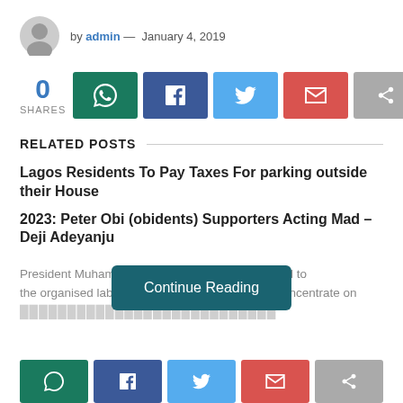by admin — January 4, 2019
[Figure (infographic): Social share bar with 0 shares count and buttons for WhatsApp, Facebook, Twitter, Email, and generic share]
RELATED POSTS
Lagos Residents To Pay Taxes For parking outside their House
2023: Peter Obi (obidents) Supporters Acting Mad – Deji Adeyanju
President Muhammad... Abuja appealed to the organised labour to allow his administration concentrate on
[Figure (other): Continue Reading button overlay]
[Figure (infographic): Bottom social share buttons: WhatsApp, Facebook, Twitter, Email, share]